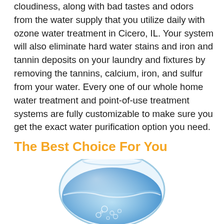cloudiness, along with bad tastes and odors from the water supply that you utilize daily with ozone water treatment in Cicero, IL. Your system will also eliminate hard water stains and iron and tannin deposits on your laundry and fixtures by removing the tannins, calcium, iron, and sulfur from your water. Every one of our whole home water treatment and point-of-use treatment systems are fully customizable to make sure you get the exact water purification option you need.
The Best Choice For You
[Figure (photo): A glass fishbowl filled with clear blue water showing bubbles and water splashing inside, partially cut off at the bottom of the page.]